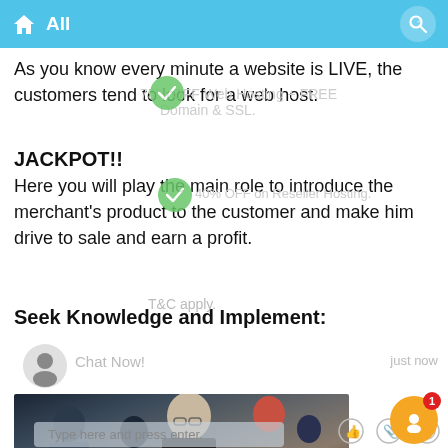All
As you know every minute a website is LIVE, the customers tend to look for a web host.
JACKPOT!!
Here you will play the main role to introduce the merchant's product to the customer and make him drive to sale and earn a profit.
Seek Knowledge and Implement:
[Figure (photo): Photo of people seated at a conference or lecture, including a bald man in a dark jacket and others with tablets/laptops.]